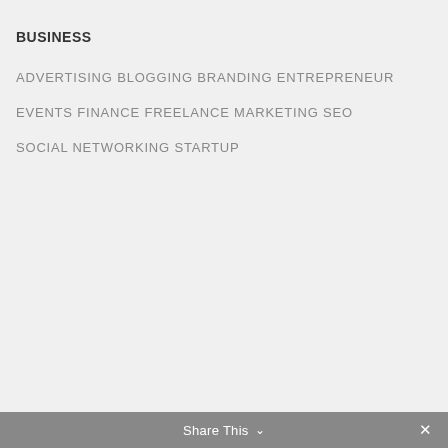BUSINESS
ADVERTISING
BLOGGING
BRANDING
ENTREPRENEUR
EVENTS
FINANCE
FREELANCE
MARKETING
SEO
SOCIAL NETWORKING
STARTUP
Share This ∨  ✕